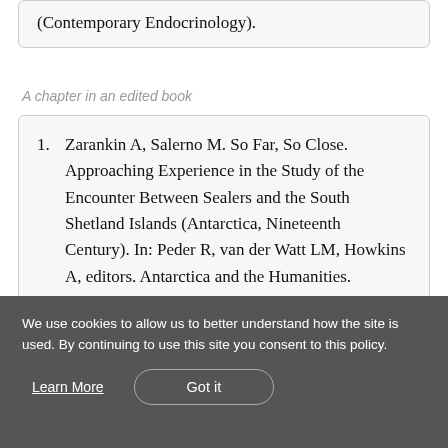(Contemporary Endocrinology).
A chapter in an edited book
1. Zarankin A, Salerno M. So Far, So Close. Approaching Experience in the Study of the Encounter Between Sealers and the South Shetland Islands (Antarctica, Nineteenth Century). In: Peder R, van der Watt LM, Howkins A, editors. Antarctica and the Humanities. London: Palgrave Macmillan UK; 2016. p. 79–103.
We use cookies to allow us to better understand how the site is used. By continuing to use this site you consent to this policy.
Learn More
Got it